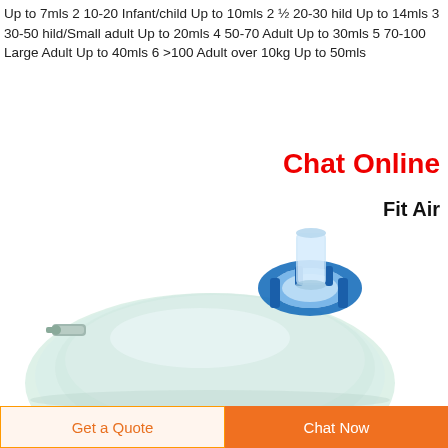Up to 7mls 2 10-20 Infant/child Up to 10mls 2 ½ 20-30 hild Up to 14mls 3 30-50 hild/Small adult Up to 20mls 4 50-70 Adult Up to 30mls 5 70-100 Large Adult Up to 40mls 6 >100 Adult over 10kg Up to 50mls
Chat Online
Fit Air
[Figure (photo): Transparent anesthesia/resuscitation face mask with blue connector ring and port fitting, viewed from above on white background.]
Get a Quote
Chat Now